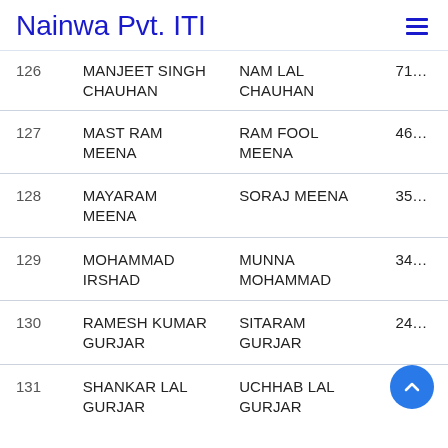Nainwa Pvt. ITI
| # | Name | Father's Name | Score |
| --- | --- | --- | --- |
| 126 | MANJEET SINGH CHAUHAN | NAM LAL CHAUHAN | 71… |
| 127 | MAST RAM MEENA | RAM FOOL MEENA | 46… |
| 128 | MAYARAM MEENA | SORAJ MEENA | 35… |
| 129 | MOHAMMAD IRSHAD | MUNNA MOHAMMAD | 34… |
| 130 | RAMESH KUMAR GURJAR | SITARAM GURJAR | 24… |
| 131 | SHANKAR LAL GURJAR | UCHHAB LAL GURJAR |  |